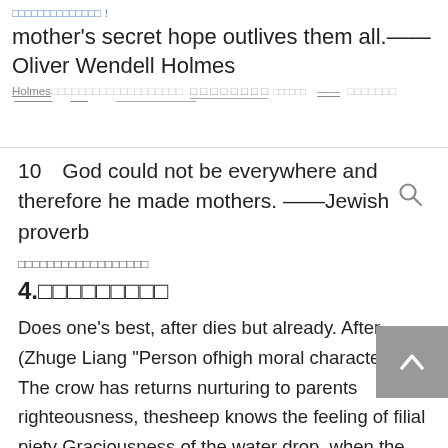mother's secret hope outlives them all.——Oliver Wendell Holmes
10　God could not be everywhere and therefore he made mothers. ——Jewish proverb
（CJK text - Chinese characters）
4.（CJK section title）
Does one's best, after dies but already. After (Zhuge Liang "Person ofhigh moral character") The crow has returns nurturing to parents righteousness, thesheep knows the feeling of filial piety Graciousness of the water drop, when the bubbling springreports Who says 口口 the heart, the newspaper three parental affection The honeybee sips the honey from the flower, leaves whenpainstakingly expression of gratitude. The empty boasting butterflyactually believed